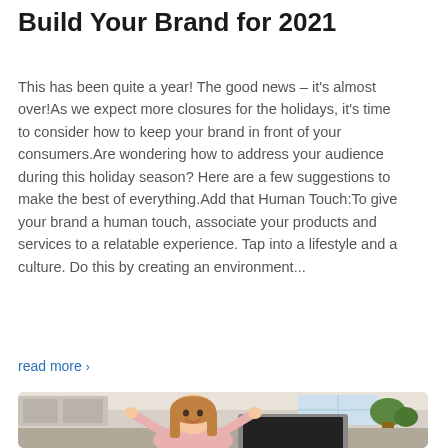Build Your Brand for 2021
This has been quite a year! The good news – it's almost over!As we expect more closures for the holidays, it's time to consider how to keep your brand in front of your consumers.Are wondering how to address your audience during this holiday season? Here are a few suggestions to make the best of everything.Add that Human Touch:To give your brand a human touch, associate your products and services to a relatable experience. Tap into a lifestyle and a culture. Do this by creating an environment...
read more ›
[Figure (photo): A smiling young girl with long hair sitting at a kitchen table in front of an open laptop, arms raised in a shrugging pose. Kitchen background with cabinets, appliances, and plants visible.]